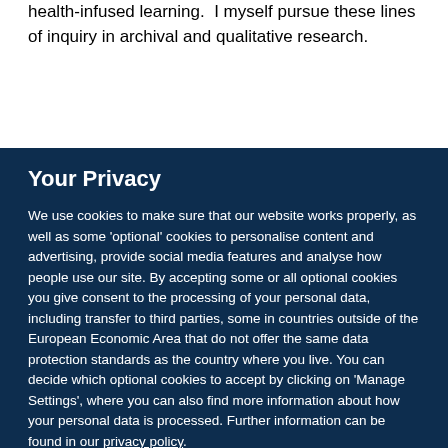health-infused learning.  I myself pursue these lines of inquiry in archival and qualitative research.
Your Privacy
We use cookies to make sure that our website works properly, as well as some 'optional' cookies to personalise content and advertising, provide social media features and analyse how people use our site. By accepting some or all optional cookies you give consent to the processing of your personal data, including transfer to third parties, some in countries outside of the European Economic Area that do not offer the same data protection standards as the country where you live. You can decide which optional cookies to accept by clicking on 'Manage Settings', where you can also find more information about how your personal data is processed. Further information can be found in our privacy policy.
Accept all cookies
Manage preferences